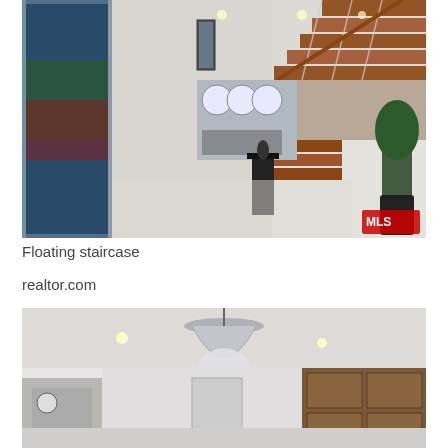[Figure (photo): Interior photo of a modern home showing a floating staircase with wooden steps and glass/cable railings, a long hallway with white polished floors, large glass windows on the left showing outdoor garden, and an open living area in the background. MLS watermark in bottom right corner.]
Floating staircase
realtor.com
[Figure (photo): Interior photo of a modern kitchen/dining area with white ceiling, a large round pendant light fixture, recessed lighting, wooden cabinetry, and white walls. Partial view of kitchen appliances and counters visible.]